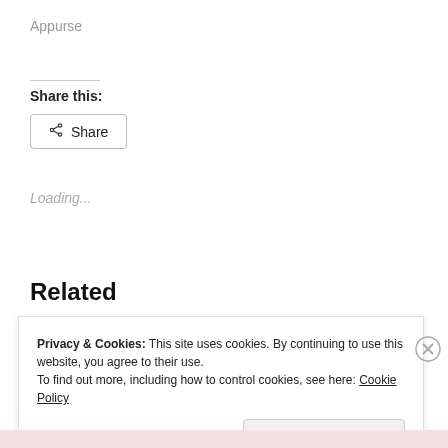Appurse
Share this:
Share
Loading...
Related
Privacy & Cookies: This site uses cookies. By continuing to use this website, you agree to their use.
To find out more, including how to control cookies, see here: Cookie Policy
Close and accept